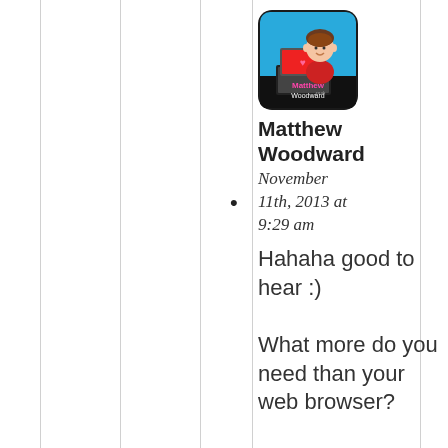[Figure (illustration): Avatar/logo image for Matthew Woodward - cartoon illustration of a young man with brown hair using a laptop, on a blue background with 'Matthew Woodward .co.uk' text, rounded square shape]
Matthew Woodward
November 11th, 2013 at 9:29 am
Hahaha good to hear :)

What more do you need than your web browser?